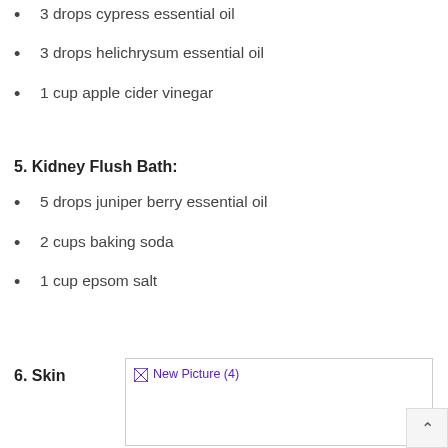3 drops cypress essential oil
3 drops helichrysum essential oil
1 cup apple cider vinegar
5. Kidney Flush Bath:
5 drops juniper berry essential oil
2 cups baking soda
1 cup epsom salt
6. Skin
[Figure (photo): Broken image placeholder labeled 'New Picture (4)']